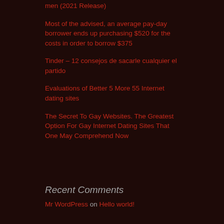men (2021 Release)
Most of the advised, an average pay-day borrower ends up purchasing $520 for the costs in order to borrow $375
Tinder – 12 consejos de sacarle cualquier el partido
Evaluations of Better 5 More 55 Internet dating sites
The Secret To Gay Websites. The Greatest Option For Gay Internet Dating Sites That One May Comprehend Now
Recent Comments
Mr WordPress on Hello world!